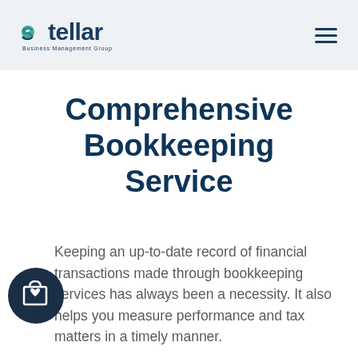stellar Business Management Group
Comprehensive Bookkeeping Service
Keeping an up-to-date record of financial transactions made through bookkeeping services has always been a necessity. It also helps you measure performance and tax matters in a timely manner.
[Figure (logo): Shopping bag with heart icon in dark circle]